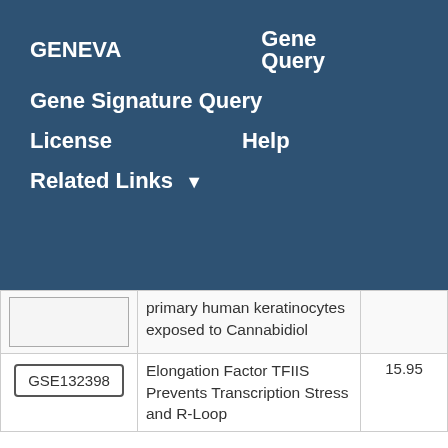GENEVA   Gene Query   Gene Signature Query   License   Help   Related Links
|  | Description | Score |
| --- | --- | --- |
|  | primary human keratinocytes exposed to Cannabidiol |  |
| GSE132398 | Elongation Factor TFIIS Prevents Transcription Stress and R-Loop | 15.95 |